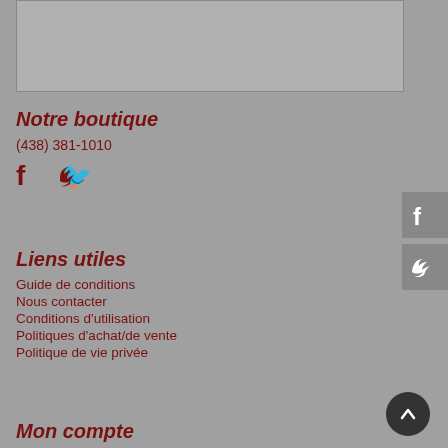[Figure (other): Gray placeholder box at the top of the page]
Notre boutique
(438) 381-1010
[Figure (other): Facebook and Twitter social media icons in dark red]
Liens utiles
Guide de conditions
Nous contacter
Conditions d'utilisation
Politiques d'achat/de vente
Politique de vie privée
Mon compte
[Figure (other): Facebook share button on right edge]
[Figure (other): Twitter share button on right edge]
[Figure (other): Back to top circular button with up arrow]